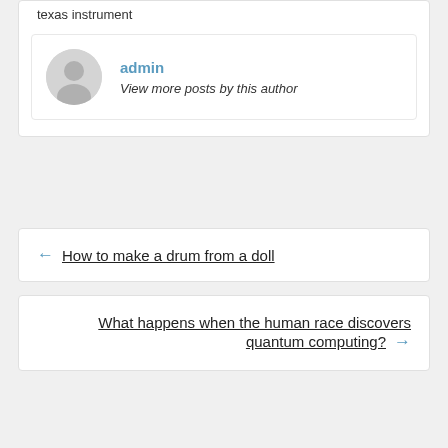texas instrument
admin
View more posts by this author
← How to make a drum from a doll
What happens when the human race discovers quantum computing? →